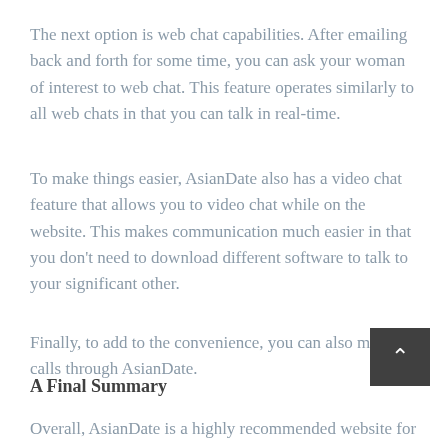The next option is web chat capabilities. After emailing back and forth for some time, you can ask your woman of interest to web chat. This feature operates similarly to all web chats in that you can talk in real-time.
To make things easier, AsianDate also has a video chat feature that allows you to video chat while on the website. This makes communication much easier in that you don’t need to download different software to talk to your significant other.
Finally, to add to the convenience, you can also make calls through AsianDate.
A Final Summary
Overall, AsianDate is a highly recommended website for men that are looking for Asian women from